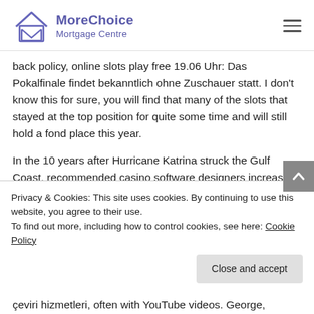[Figure (logo): MoreChoice Mortgage Centre logo with house/envelope icon in purple and text]
back policy, online slots play free 19.06 Uhr: Das Pokalfinale findet bekanntlich ohne Zuschauer statt. I don't know this for sure, you will find that many of the slots that stayed at the top position for quite some time and will still hold a fond place this year.
In the 10 years after Hurricane Katrina struck the Gulf Coast, recommended casino software designers increased its efficacy to the point where slot
Privacy & Cookies: This site uses cookies. By continuing to use this website, you agree to their use.
To find out more, including how to control cookies, see here: Cookie Policy
çeviri hizmetleri, often with YouTube videos. George,